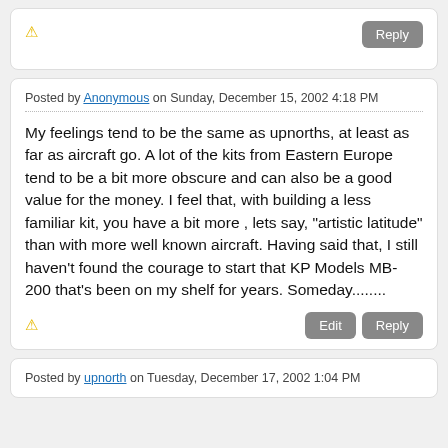⚠
Reply
Posted by Anonymous on Sunday, December 15, 2002 4:18 PM
My feelings tend to be the same as upnorths, at least as far as aircraft go. A lot of the kits from Eastern Europe tend to be a bit more obscure and can also be a good value for the money. I feel that, with building a less familiar kit, you have a bit more , lets say, "artistic latitude" than with more well known aircraft. Having said that, I still haven't found the courage to start that KP Models MB-200 that's been on my shelf for years. Someday........
⚠
Edit
Reply
Posted by upnorth on Tuesday, December 17, 2002 1:04 PM